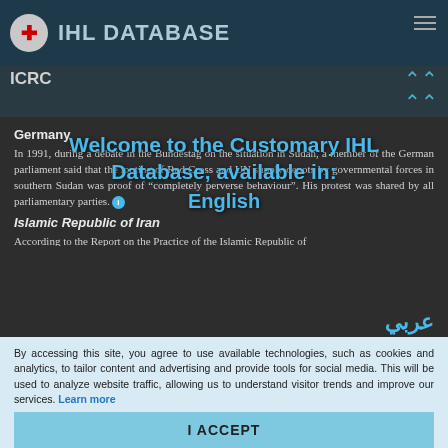IHL DATABASE ICRC
Germany
In 1991, during a debate in the Bundestag on the situation in Sudan, a member of the German parliament said that the looting of Red Cross and UN supply depots by governmental forces in southern Sudan was proof of “completely perverse behaviour”. His protest was shared by all parliamentary parties.
[Figure (other): Welcome to the Customary IHL Database, available in: English overlay]
Islamic Republic of Iran
According to the Report on the Practice of the Islamic Republic of
By accessing this site, you agree to use available technologies, such as cookies and analytics, to tailor content and advertising and provide tools for social media. This will be used to analyze website traffic, allowing us to understand visitor trends and improve our services. Learn more
I ACCEPT